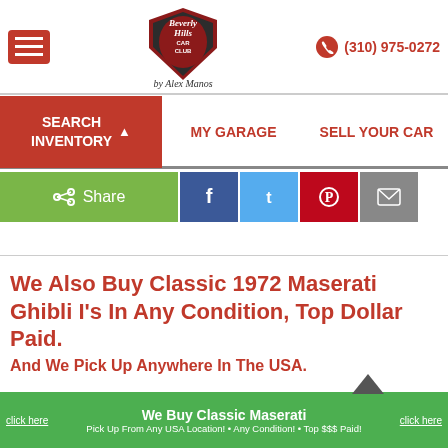[Figure (logo): Beverly Hills Car Club by Alex Manos shield logo in dark red/black]
(310) 975-0272
SEARCH INVENTORY | MY GARAGE | SELL YOUR CAR
[Figure (infographic): Share bar with green Share button, Facebook, Twitter, Pinterest, and Email social share icons]
We Also Buy Classic 1972 Maserati Ghibli I’s In Any Condition, Top Dollar Paid. And We Pick Up Anywhere In The USA.
We Buy Classic Maserati — Pick Up From Any USA Location! • Any Condition! • Top $$$ Paid!